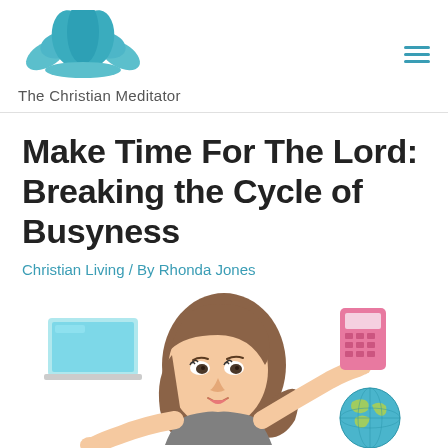[Figure (logo): Lotus flower logo in teal/turquoise colors above the text 'The Christian Meditator']
The Christian Meditator
Make Time For The Lord: Breaking the Cycle of Busyness
Christian Living / By Rhonda Jones
[Figure (illustration): Cartoon illustration of a busy woman with brown hair juggling items including a laptop, calculator/phone, and globe, shown from waist up against white background]